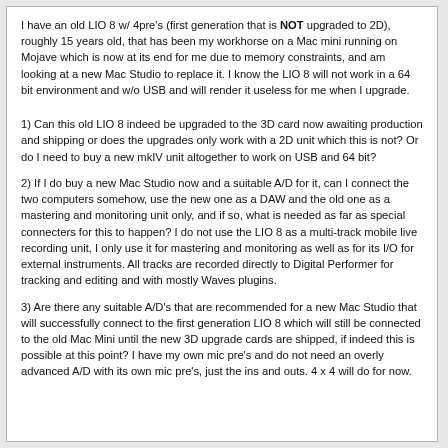I have an old LIO 8 w/ 4pre's (first generation that is NOT upgraded to 2D), roughly 15 years old, that has been my workhorse on a Mac mini running on Mojave which is now at its end for me due to memory constraints, and am looking at a new Mac Studio to replace it. I know the LIO 8 will not work in a 64 bit environment and w/o USB and will render it useless for me when I upgrade.
1) Can this old LIO 8 indeed be upgraded to the 3D card now awaiting production and shipping or does the upgrades only work with a 2D unit which this is not? Or do I need to buy a new mkIV unit altogether to work on USB and 64 bit?
2) If I do buy a new Mac Studio now and a suitable A/D for it, can I connect the two computers somehow, use the new one as a DAW and the old one as a mastering and monitoring unit only, and if so, what is needed as far as special connecters for this to happen? I do not use the LIO 8 as a multi-track mobile live recording unit, I only use it for mastering and monitoring as well as for its I/O for external instruments. All tracks are recorded directly to Digital Performer for tracking and editing and with mostly Waves plugins.
3) Are there any suitable A/D's that are recommended for a new Mac Studio that will successfully connect to the first generation LIO 8 which will still be connected to the old Mac Mini until the new 3D upgrade cards are shipped, if indeed this is possible at this point? I have my own mic pre's and do not need an overly advanced A/D with its own mic pre's, just the ins and outs. 4 x 4 will do for now.